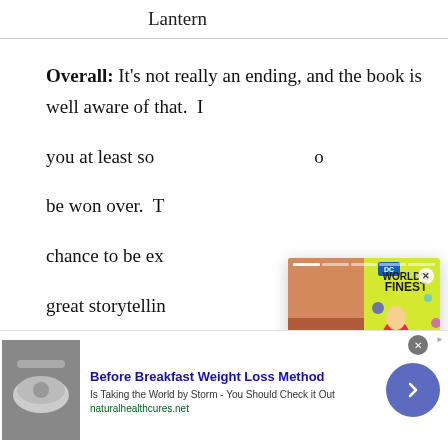Lantern
Overall: It's not really an ending, and the book is well aware of that. It... you at least so... to be won over. T... chance to be ex... great storytellin... Justice League... s it's incomplete a... It's pretty much...
[Figure (photo): Popup overlay showing DC World's Finest comic book cover featuring Robin character in colorful costume, with progress bar at top, X close button, and orange arrow button]
[Figure (infographic): Advertisement bar: Before Breakfast Weight Loss Method - Is Taking the World by Storm - You Should Check it Out - naturalhealthcures.net, with food image on left and purple circle arrow on right]